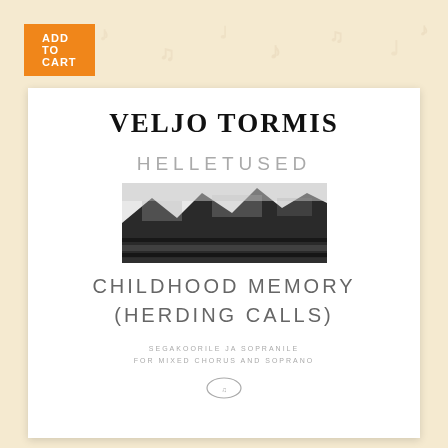[Figure (illustration): Orange 'ADD TO CART' button in top left corner over a cream background with faint music note decorations]
[Figure (illustration): White score sheet cover showing composer name VELJO TORMIS, Estonian title HELLETUSED, a black-and-white architectural/landscape photograph, English title CHILDHOOD MEMORY (HERDING CALLS), subtitle FOR MIXED CHORUS AND SOPRANO, and a small publisher logo at the bottom]